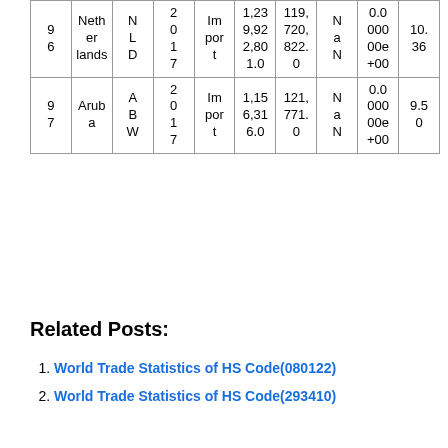| 96 | Netherlands | NLD | 2017 | Import | 1,239,922,801.0 | 119,720,822.0 | NaN | 0.000000e+00 | 10.36 |
| 97 | Aruba | ABW | 2017 | Import | 1,156,316.0 | 121,771.0 | NaN | 0.000000e+00 | 9.50 |
Related Posts:
World Trade Statistics of HS Code(080122)
World Trade Statistics of HS Code(293410)